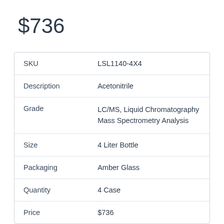$736
| SKU | LSL1140-4X4 |
| Description | Acetonitrile |
| Grade | LC/MS, Liquid Chromatography Mass Spectrometry Analysis |
| Size | 4 Liter Bottle |
| Packaging | Amber Glass |
| Quantity | 4 Case |
| Price | $736 |